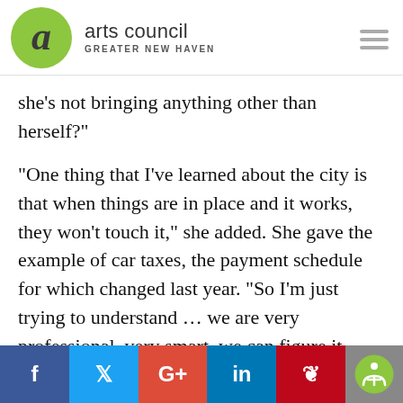arts council GREATER NEW HAVEN
she’s not bringing anything other than herself?”
“One thing that I’ve learned about the city is that when things are in place and it works, they won’t touch it,” she added. She gave the example of car taxes, the payment schedule for which changed last year. “So I’m just trying to understand … we are very professional, very smart, we can figure it
f  •  t  •  G+  •  in  •  Ⓟ